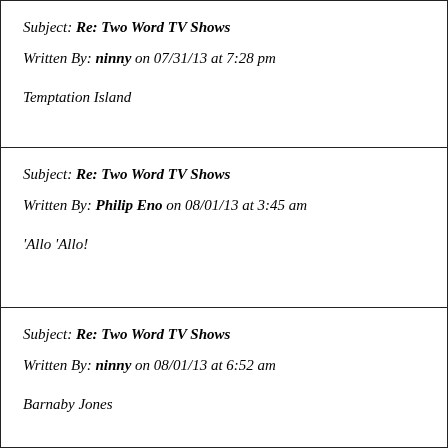Subject: Re: Two Word TV Shows
Written By: ninny on 07/31/13 at 7:28 pm
Temptation Island
Subject: Re: Two Word TV Shows
Written By: Philip Eno on 08/01/13 at 3:45 am
'Allo 'Allo!
Subject: Re: Two Word TV Shows
Written By: ninny on 08/01/13 at 6:52 am
Barnaby Jones